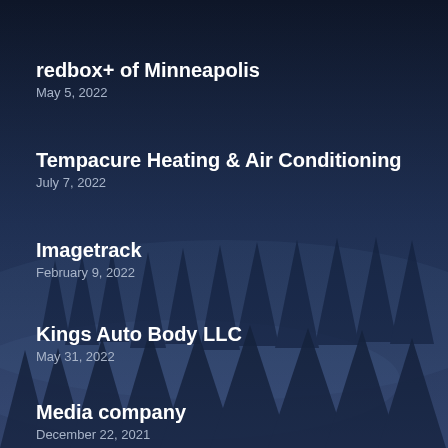redbox+ of Minneapolis
May 5, 2022
Tempacure Heating & Air Conditioning
July 7, 2022
Imagetrack
February 9, 2022
Kings Auto Body LLC
May 31, 2022
Media company
December 22, 2021